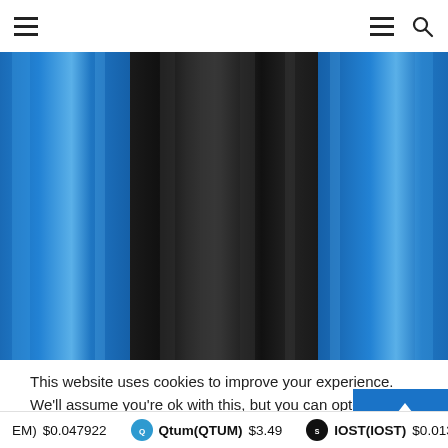Navigation header with hamburger menu and search icon
[Figure (photo): Large decorative image showing vertical stripes of blue and black, resembling curtain folds or a flag-like pattern with blue on the sides and a wide black center section.]
This website uses cookies to improve your experience. We'll assume you're ok with this, but you can opt-out if you w
EM) $0.047922  Qtum(QTUM) $3.49  IOST(IOST) $0.0135